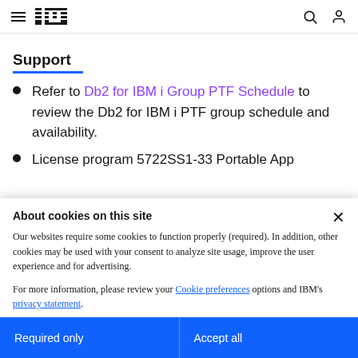IBM navigation header with hamburger menu, IBM logo, search and user icons
Support
Refer to Db2 for IBM i Group PTF Schedule to review the Db2 for IBM i PTF group schedule and availability.
License program 5722SS1-33 Portable App
About cookies on this site
Our websites require some cookies to function properly (required). In addition, other cookies may be used with your consent to analyze site usage, improve the user experience and for advertising.
For more information, please review your Cookie preferences options and IBM's privacy statement.
Required only | Accept all